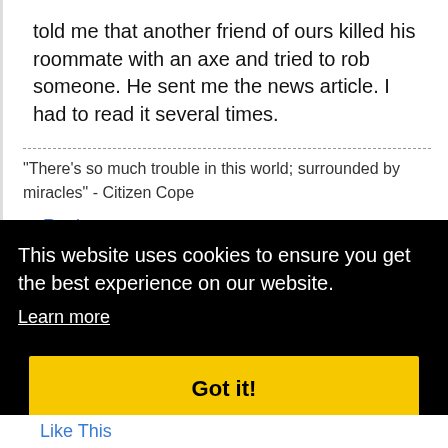told me that another friend of ours killed his roommate with an axe and tried to rob someone. He sent me the news article. I had to read it several times.
"There's so much trouble in this world; surrounded by miracles" - Citizen Cope
Reply
Like This
This website uses cookies to ensure you get the best experience on our website.
Learn more
Got it!
:59PM
ary.
Like This